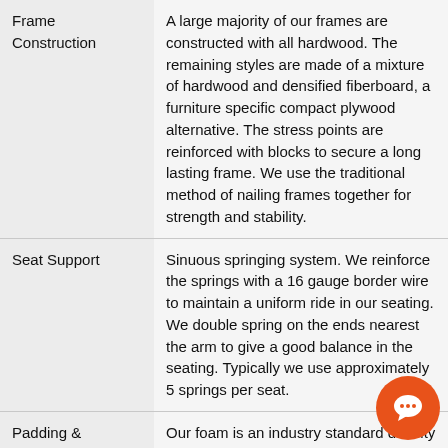| Feature | Description |
| --- | --- |
| Frame Construction | A large majority of our frames are constructed with all hardwood. The remaining styles are made of a mixture of hardwood and densified fiberboard, a furniture specific compact plywood alternative. The stress points are reinforced with blocks to secure a long lasting frame. We use the traditional method of nailing frames together for strength and stability. |
| Seat Support | Sinuous springing system. We reinforce the springs with a 16 gauge border wire to maintain a uniform ride in our seating. We double spring on the ends nearest the arm to give a good balance in the seating. Typically we use approximately 5 springs per seat. |
| Padding & Ergonomics | Our foam is an industry standard density with compressions varying according to cushion size. All cushions |